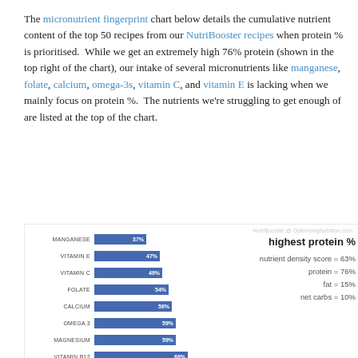The micronutrient fingerprint chart below details the cumulative nutrient content of the top 50 recipes from our NutriBooster recipes when protein % is prioritised. While we get an extremely high 76% protein (shown in the top right of the chart), our intake of several micronutrients like manganese, folate, calcium, omega-3s, vitamin C, and vitamin E is lacking when we mainly focus on protein %. The nutrients we're struggling to get enough of are listed at the top of the chart.
[Figure (bar-chart): highest protein %]